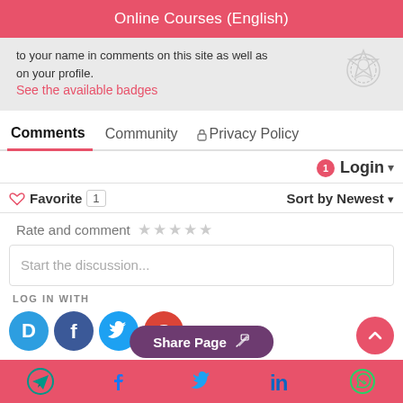Online Courses (English)
to your name in comments on this site as well as on your profile.
See the available badges
Comments   Community   🔒 Privacy Policy
1  Login ▾
♡ Favorite  1    Sort by Newest ▾
Rate and comment ★★★★★
Start the discussion...
LOG IN WITH
[Figure (infographic): Social login icons: Disqus (D), Facebook (f), Twitter bird, Google (G)]
Share Page
Bottom navigation bar with Telegram, Facebook, Twitter, LinkedIn, WhatsApp icons